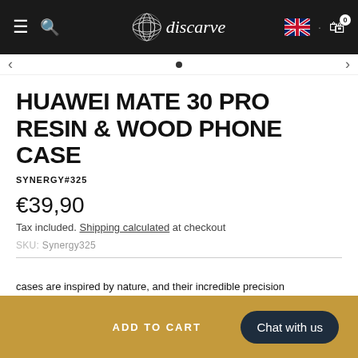discarve
HUAWEI MATE 30 PRO RESIN & WOOD PHONE CASE
SYNERGY#325
€39,90
Tax included. Shipping calculated at checkout
SKU: Synergy325
ADD TO CART
Chat with us
cases are inspired by nature, and their incredible precision